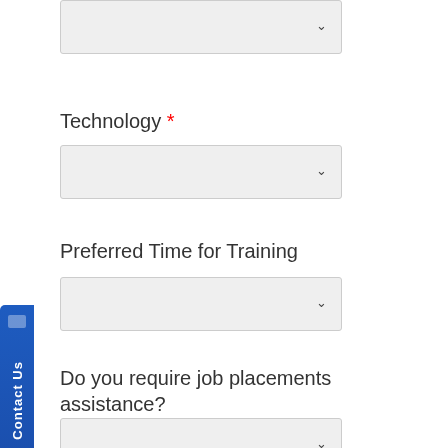[Figure (screenshot): Top dropdown selector (partially visible at top of page)]
Technology *
[Figure (screenshot): Technology dropdown selector]
Preferred Time for Training
[Figure (screenshot): Preferred Time for Training dropdown selector]
Do you require job placements assistance?
[Figure (screenshot): Job placements assistance dropdown selector]
Resume
[Figure (screenshot): Contact Us side tab button]
1. We
2. You
3. You bus
4. Acc
5. C
He
[Figure (logo): Facebook badge/button]
Cor
Java
Java
Web
Stru
Java